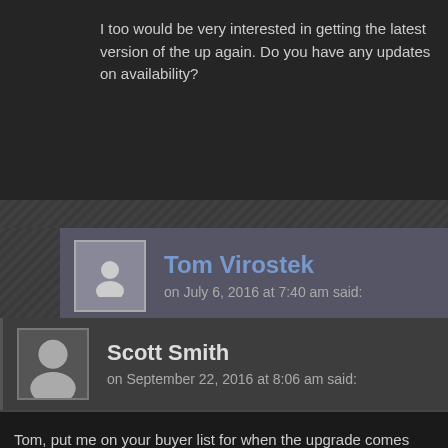I too would be very interested in getting the latest version of the up again. Do you have any updates on availability?
Tom Virostek
on July 6, 2016 at 7:40 am said:
No updates at the moment. I hope to get back to work on it so I've made some progress. I don't expect to make any significa
Scott Smith
on September 22, 2016 at 8:06 am said:
Tom, put me on your buyer list for when the upgrade comes availa

Thanks